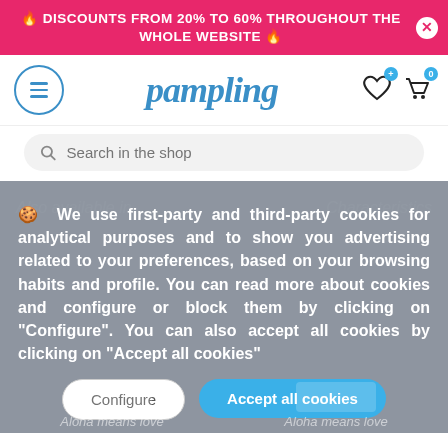🔥 DISCOUNTS FROM 20% TO 60% THROUGHOUT THE WHOLE WEBSITE 🔥
[Figure (logo): Pampling logo with hamburger menu button and cart/wishlist icons]
Search in the shop
🍪 We use first-party and third-party cookies for analytical purposes and to show you advertising related to your preferences, based on your browsing habits and profile. You can read more about cookies and configure or block them by clicking on "Configure". You can also accept all cookies by clicking on "Accept all cookies"
Configure
Accept all cookies
Aloha means love
Aloha means love